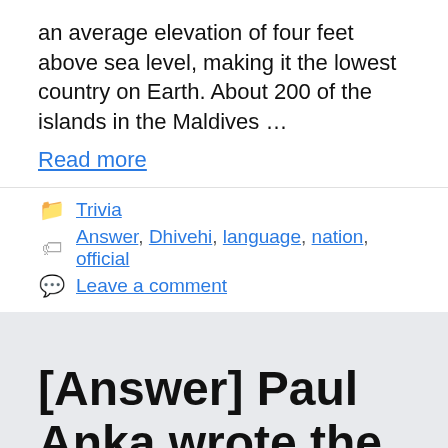an average elevation of four feet above sea level, making it the lowest country on Earth. About 200 of the islands in the Maldives …
Read more
Trivia
Answer, Dhivehi, language, nation, official
Leave a comment
[Answer] Paul Anka wrote the 1960 hit song "Puppy Love"